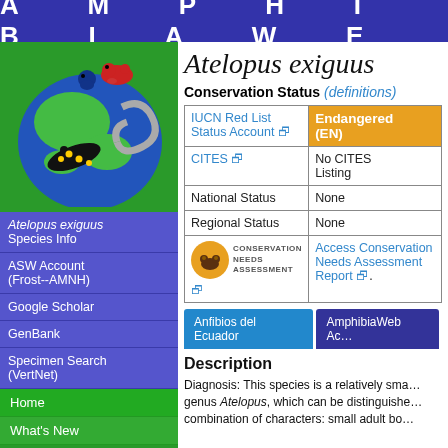A M P H I B I A W E
[Figure (illustration): Globe with amphibian illustrations including a red frog, salamander, and snake]
Atelopus exiguus Species Info
ASW Account (Frost--AMNH)
Google Scholar
GenBank
Specimen Search (VertNet)
Home
What's New
Search any Scientific Name
Search by:
Atelopus exiguus
Conservation Status (definitions)
|  |  |
| --- | --- |
| IUCN Red List Status Account [ext] | Endangered (EN) |
| CITES [ext] | No CITES Listing |
| National Status | None |
| Regional Status | None |
| [Conservation Needs Assessment logo] | Access Conservation Needs Assessment Report [ext]. |
Anfibios del Ecuador
AmphibiaWeb Ac...
Description
Diagnosis: This species is a relatively sma... genus Atelopus, which can be distinguishe... combination of characters: small adult bo...